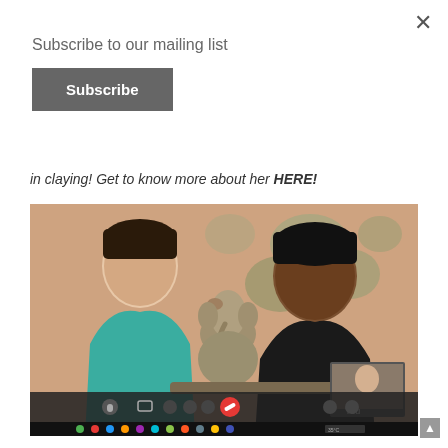×
Subscribe to our mailing list
Subscribe
in claying! Get to know more about her HERE!
[Figure (photo): Screenshot of a video call showing two women smiling, with a clay Ganesha sculpture between them. The woman on the left wears a teal top, the woman on the right wears a black top. A floral wallpaper is visible in the background. A small 'You' thumbnail appears in the bottom right of the video. Video call controls and a taskbar are visible at the bottom.]